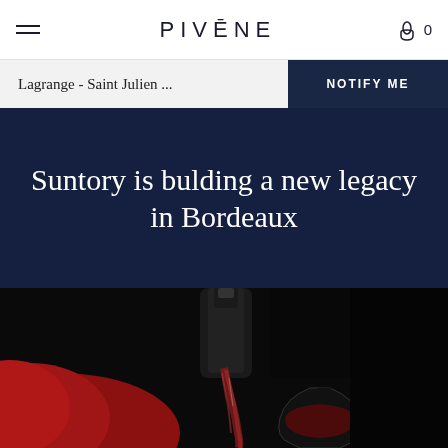PIVĒNE
Lagrange - Saint Julien ...
NOTIFY ME
Suntory is bulding a new legacy in Bordeaux
[Figure (photo): Dark close-up photo of red wine being poured from a bottle into a glass, with dramatic lighting against a black background. Bottle and glassware visible with a red cloth in the foreground.]